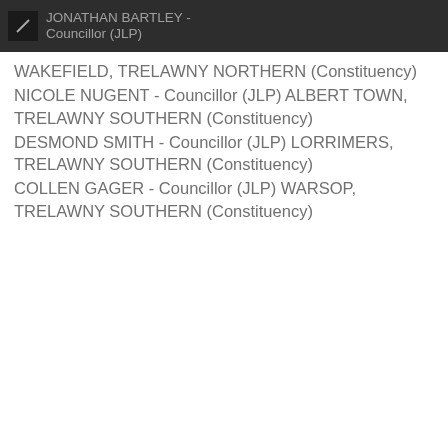JONATHAN BARTLEY - Councillor (JLP)
WAKEFIELD, TRELAWNY NORTHERN (Constituency)
NICOLE NUGENT - Councillor (JLP) ALBERT TOWN, TRELAWNY SOUTHERN (Constituency)
DESMOND SMITH - Councillor (JLP) LORRIMERS, TRELAWNY SOUTHERN (Constituency)
COLLEN GAGER - Councillor (JLP) WARSOP, TRELAWNY SOUTHERN (Constituency)